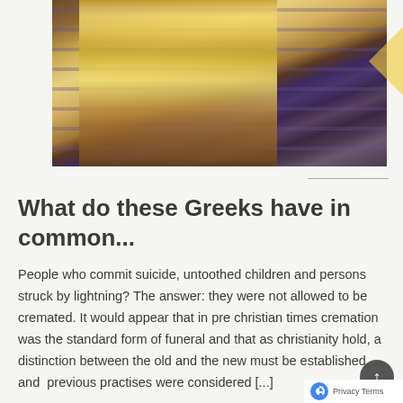[Figure (illustration): Cropped illustration of an ancient Greek warrior/soldier wearing a tunic/chiton with decorative border, stepping on stone stairs, holding what appears to be a cylindrical object. Warm golden-brown tones on the figure against a darker stone background.]
What do these Greeks have in common...
People who commit suicide, untoothed children and persons struck by lightning? The answer: they were not allowed to be cremated. It would appear that in pre christian times cremation was the standard form of funeral and that as christianity hold, a distinction between the old and the new must be established and  previous practises were considered [...]